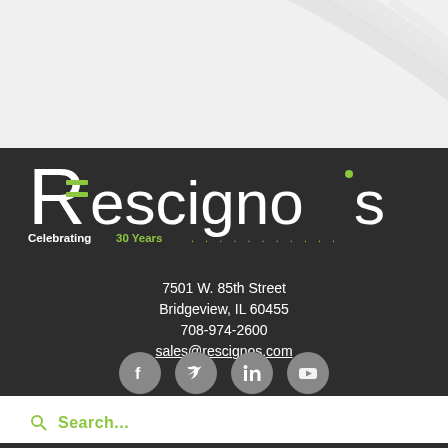[Figure (illustration): Top decorative background with light gray curved concentric arc lines on white/light gray background]
[Figure (logo): Rescigno's company logo — large white stylized R with green horizontal bar lines inside, followed by 'escigno's' in white thin font, green 'Celebrating 30 Years' text with dotted green line]
7501 W. 85th Street
Bridgeview, IL 60455
708-974-2600
sales@rescignos.com
[Figure (illustration): Four social media icons (Facebook, Twitter, LinkedIn, YouTube) in gray circles]
Search...
© 2022 Rescigno's